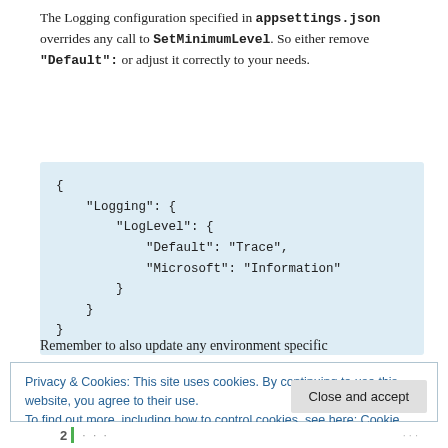The Logging configuration specified in appsettings.json overrides any call to SetMinimumLevel. So either remove "Default": or adjust it correctly to your needs.
[Figure (screenshot): Code block with light blue background showing JSON configuration: { "Logging": { "LogLevel": { "Default": "Trace", "Microsoft": "Information" } } }]
Remember to also update any environment specific
Privacy & Cookies: This site uses cookies. By continuing to use this website, you agree to their use.
To find out more, including how to control cookies, see here: Cookie Policy
Close and accept
2